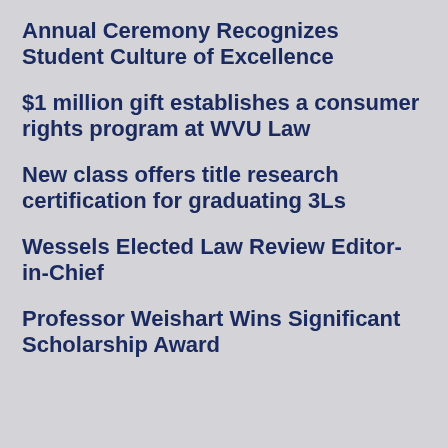Annual Ceremony Recognizes Student Culture of Excellence
$1 million gift establishes a consumer rights program at WVU Law
New class offers title research certification for graduating 3Ls
Wessels Elected Law Review Editor-in-Chief
Professor Weishart Wins Significant Scholarship Award